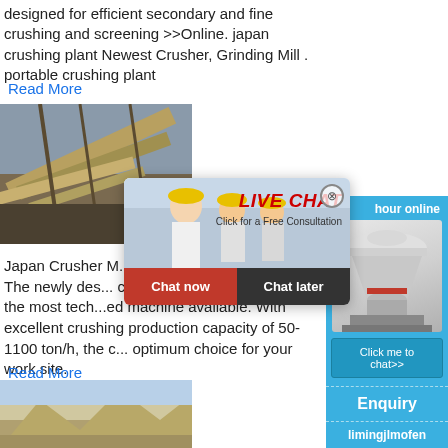designed for efficient secondary and fine crushing and screening >>Online. japan crushing plant Newest Crusher, Grinding Mill . portable crushing plant
Read More
[Figure (photo): Aerial view of industrial crushing conveyor belt facility]
Japan Crusher M... The newly des... crusher enter the market as the most tech... machine available. With excellent crushing production capacity of 50-1100 ton/h, the c... optimum choice for your work site.
Read More
[Figure (screenshot): Live chat popup overlay with workers in hard hats, LIVE CHAT title in red, Click for a Free Consultation, Chat now and Chat later buttons]
[Figure (photo): Right sidebar showing cone crusher machine image, Click me to chat>> button, Enquiry section, and limingjlmofen text on blue background]
[Figure (photo): Bottom partial image showing quarry or excavation site]